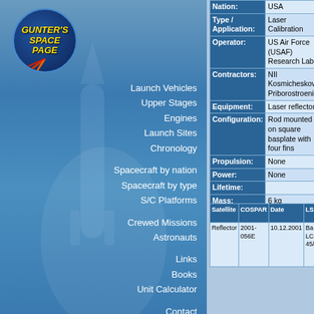[Figure (logo): Gunter's Space Page logo with rocket graphic]
Launch Vehicles
Upper Stages
Engines
Launch Sites
Chronology
Spacecraft by nation
Spacecraft by type
S/C Platforms
Crewed Missions
Astronauts
Links
Books
Unit Calculator
Contact
| Field | Value |
| --- | --- |
| Nation: | USA |
| Type / Application: | Laser Calibration |
| Operator: | US Air Force (USAF) Research Lab |
| Contractors: | NII Kosmicheskovo Priborostroeniya |
| Equipment: | Laser reflectors |
| Configuration: | Rod mounted on square basplate with four fins |
| Propulsion: | None |
| Power: | None |
| Lifetime: |  |
| Mass: | 6 kg |
| Orbit: | 984 km × 1014 km, 99.65° |
| Satellite | COSPAR | Date | LS | Launch Vehicle | Remarks |
| --- | --- | --- | --- | --- | --- |
| Reflector | 2001-056E | 10.12.2001 | Ba LC-45/1 | Zenit-2 | with Meteor-3M 1, Kompass, Bado P... |